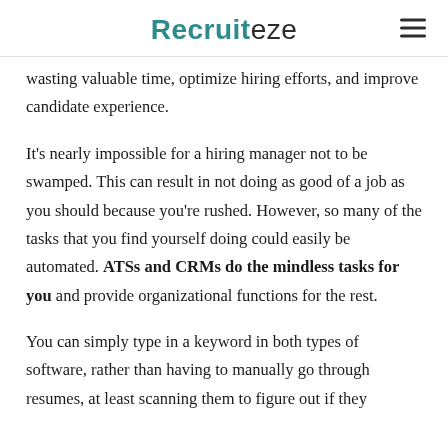Recruiteze
…wasting valuable time, optimize hiring efforts, and improve candidate experience.
It's nearly impossible for a hiring manager not to be swamped. This can result in not doing as good of a job as you should because you're rushed. However, so many of the tasks that you find yourself doing could easily be automated. ATSs and CRMs do the mindless tasks for you and provide organizational functions for the rest.
You can simply type in a keyword in both types of software, rather than having to manually go through resumes, at least scanning them to figure out if they